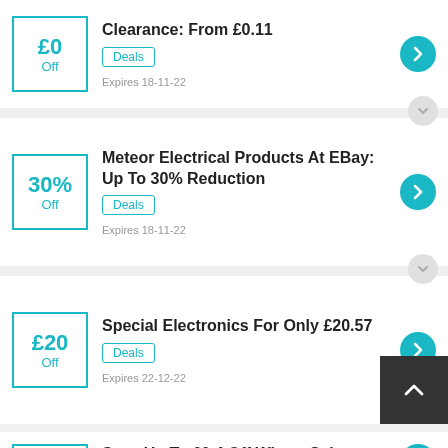Clearance: From £0.11 | Deals | Expires 18-11-22 | £0 Off
Meteor Electrical Products At EBay: Up To 30% Reduction | Deals | Expires 18-11-22 | 30% Off
Special Electronics For Only £20.57 | Deals | Expires 22-12-22 | £20 Off
Save Up To £0.4 Off Winter Sale | Deals | Expires 10-12-22 | £0 Off